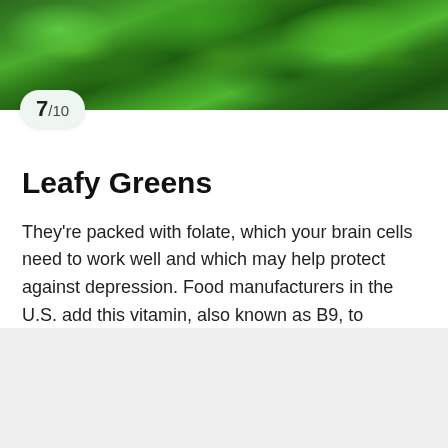[Figure (photo): Close-up photo of leafy green vegetables (kale or similar), dark green leaves filling the frame]
7/10
Leafy Greens
They’re packed with folate, which your brain cells need to work well and which may help protect against depression. Food manufacturers in the U.S. add this vitamin, also known as B9, to enriched grains like pasta and rice. You can also get it from lentils, lima beans, and asparagus.
ADVERTISEMENT